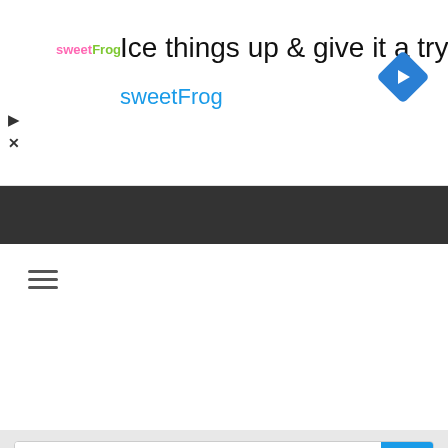[Figure (screenshot): sweetFrog advertisement banner with logo, text 'Ice things up & give it a try', 'sweetFrog' link, navigation arrow diamond icon, and close/play icons]
[Figure (screenshot): Dark navigation bar with white chevron/up arrow panel on the left]
[Figure (screenshot): Hamburger menu icon (three horizontal lines)]
[Figure (screenshot): Search bar with placeholder text 'Search...' and blue search button with magnifying glass icon]